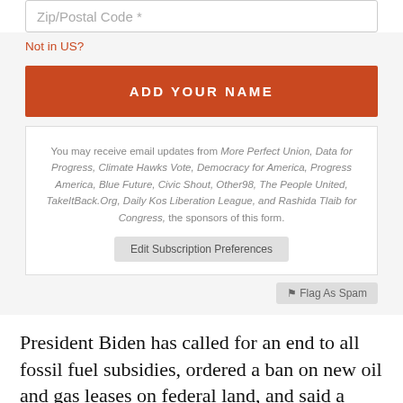[Figure (screenshot): Zip/Postal Code form input field with placeholder text]
Not in US?
[Figure (screenshot): ADD YOUR NAME button in red/orange]
You may receive email updates from More Perfect Union, Data for Progress, Climate Hawks Vote, Democracy for America, Progress America, Blue Future, Civic Shout, Other98, The People United, TakeItBack.Org, Daily Kos Liberation League, and Rashida Tlaib for Congress, the sponsors of this form.
[Figure (screenshot): Edit Subscription Preferences button]
[Figure (screenshot): Flag As Spam button]
President Biden has called for an end to all fossil fuel subsidies, ordered a ban on new oil and gas leases on federal land, and said a third of all federal lands must be preserved for conservation, along with a host of other